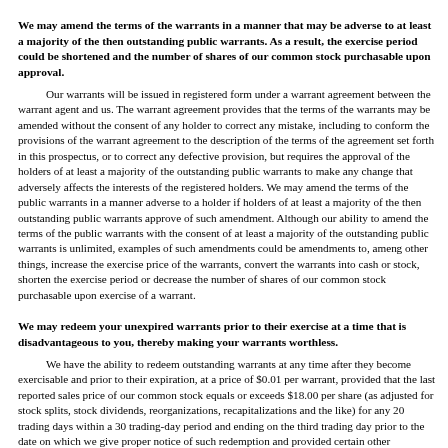We may amend the terms of the warrants in a manner that may be adverse to at least a majority of the then outstanding public warrants. As a result, the exercise period could be shortened and the number of shares of our common stock purchasable upon approval.
Our warrants will be issued in registered form under a warrant agreement between the warrant agent and us. The warrant agreement provides that the terms of the warrants may be amended without the consent of any holder to correct any mistake, including to conform the provisions of the warrant agreement to the description of the terms of the agreement set forth in this prospectus, or to correct any defective provision, but requires the approval of the holders of at least a majority of the outstanding public warrants to make any change that adversely affects the interests of the registered holders. We may amend the terms of the public warrants in a manner adverse to a holder if holders of at least a majority of the then outstanding public warrants approve of such amendment. Although our ability to amend the terms of the public warrants with the consent of at least a majority of the outstanding public warrants is unlimited, examples of such amendments could be amendments to, among other things, increase the exercise price of the warrants, convert the warrants into cash or stock, shorten the exercise period or decrease the number of shares of our common stock purchasable upon exercise of a warrant.
We may redeem your unexpired warrants prior to their exercise at a time that is disadvantageous to you, thereby making your warrants worthless.
We have the ability to redeem outstanding warrants at any time after they become exercisable and prior to their expiration, at a price of $0.01 per warrant, provided that the last reported sales price of our common stock equals or exceeds $18.00 per share (as adjusted for stock splits, stock dividends, reorganizations, recapitalizations and the like) for any 20 trading days within a 30 trading-day period ending on the third trading day prior to the date on which we give proper notice of such redemption and provided certain other conditions are met. If and when the warrants become redeemable by us, we may not exercise our redemption right if the issuance of shares of common stock upon exercise of the warrants is not exempt from registration or qualification under applicable state blue-sky laws or we are unable to effect such registration or qualification. We will use our best efforts to register or qualify such shares of common stock under the blue sky laws of the states in which the warrants were offered by us in this offering. Redemption of the outstanding warrants could force you to: (i) exercise your warrants and pay the exercise price therefor at a time when it may be disadvantageous for you